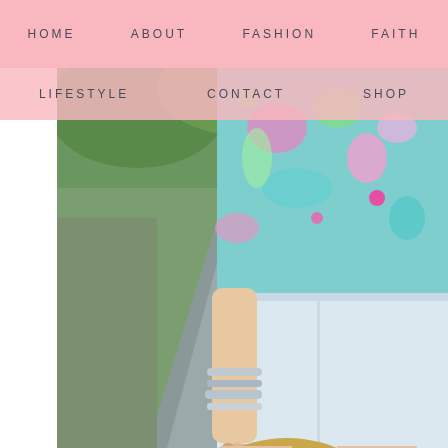HOME   ABOUT   FASHION   FAITH
LIFESTYLE   CONTACT   SHOP
[Figure (photo): Fashion lifestyle photo showing a woman from the waist down wearing a colorful Lilly Pulitzer patterned top, white shorts, silver bracelets, and holding a straw tote bag with bright pink tassel trim, standing on a path with green foliage in background.]